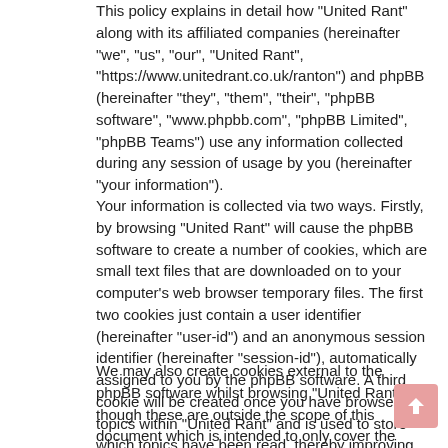This policy explains in detail how "United Rant" along with its affiliated companies (hereinafter "we", "us", "our", "United Rant", "https://www.unitedrant.co.uk/ranton") and phpBB (hereinafter "they", "them", "their", "phpBB software", "www.phpbb.com", "phpBB Limited", "phpBB Teams") use any information collected during any session of usage by you (hereinafter "your information").
Your information is collected via two ways. Firstly, by browsing "United Rant" will cause the phpBB software to create a number of cookies, which are small text files that are downloaded on to your computer's web browser temporary files. The first two cookies just contain a user identifier (hereinafter "user-id") and an anonymous session identifier (hereinafter "session-id"), automatically assigned to you by the phpBB software. A third cookie will be created once you have browsed topics within "United Rant" and is used to store which topics have been read, thereby improving your user experience.
We may also create cookies external to the phpBB software whilst browsing "United Rant", though these are outside the scope of this document which is intended to only cover the pages created by the phpBB software. The second way in